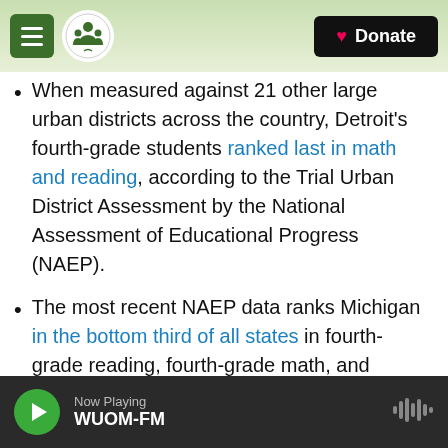Michigan Public Radio — Donate
When measured against 21 other large urban districts across the country, Detroit's fourth-grade students ranked last in math and reading, according to the Trial Urban District Assessment by the National Assessment of Educational Progress (NAEP).
The most recent NAEP data ranks Michigan in the bottom third of all states in fourth-grade reading, fourth-grade math, and eighth-grade math.
State assessments show only 18% of Michigan's high school students meet ACT college-readiness benchmarks in all subjects.
Now Playing WUOM-FM